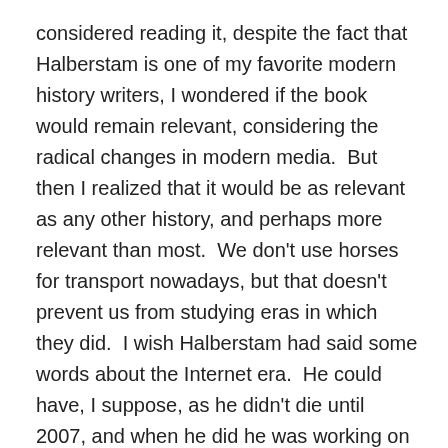considered reading it, despite the fact that Halberstam is one of my favorite modern history writers, I wondered if the book would remain relevant, considering the radical changes in modern media.  But then I realized that it would be as relevant as any other history, and perhaps more relevant than most.  We don't use horses for transport nowadays, but that doesn't prevent us from studying eras in which they did.  I wish Halberstam had said some words about the Internet era.  He could have, I suppose, as he didn't die until 2007, and when he did he was working on another book, but the era he focused on was usually the twentieth century.
“The Powers That Be’ is, in fact, relevant to our present predicaments, not so much in the particulars but in the undercurrents.  For instance, Halberstam writes at length